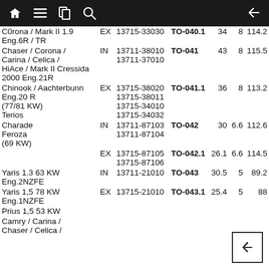Navigation bar with home, menu, bookmarks, search icons and back arrow
| Model | Type | Part No. | TO-No. | N1 | N2 | N3 |
| --- | --- | --- | --- | --- | --- | --- |
| Corona / Mark II 1.9 Eng.6R / TR | EX | 13715-33030 | TO-040.1 | 34 | 8 | 114.2 |
| Chaser / Corona / Carina / Celica / HiAce / Mark II Cressida 2000 Eng.21R | IN | 13711-38010
13711-37010 | TO-041 | 43 | 8 | 115.5 |
| Chinook / Aachterbunn Eng.20 R (77/81 KW)
Terios | EX | 13715-38020
13715-38011
13715-34010
13715-34032 | TO-041.1 | 36 | 8 | 113.2 |
| Charade
Feroza
(69 KW) | IN | 13711-87103
13711-87104 | TO-042 | 30 | 6.6 | 112.6 |
|  | EX | 13715-87105
13715-87106 | TO-042.1 | 26.1 | 6.6 | 114.5 |
| Yaris 1.3 63 KW Eng.2NZFE | IN | 13711-21010 | TO-043 | 30.5 | 5 | 89.2 |
| Yaris 1,5 78 KW Eng.1NZFE | EX | 13715-21010 | TO-043.1 | 25.4 | 5 | 88 |
| Prius 1,5 53 KW |  |  |  |  |  |  |
| Camry / Carina / Chaser / Celica / |  |  |  |  |  |  |